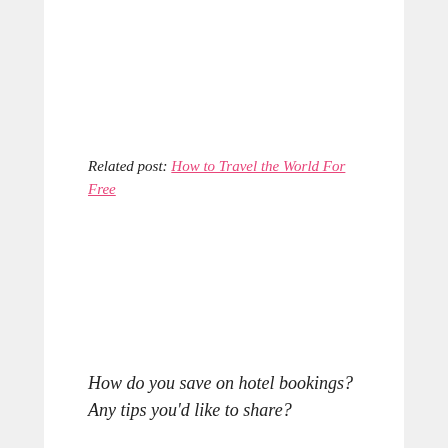Related post: How to Travel the World For Free
How do you save on hotel bookings? Any tips you'd like to share?